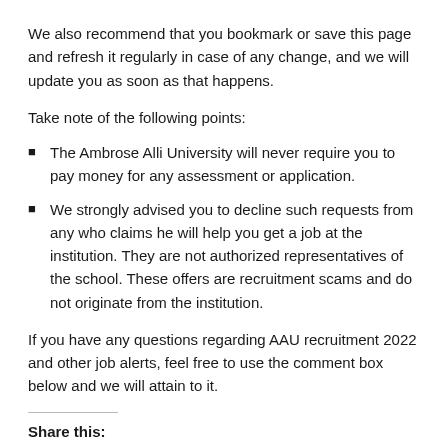We also recommend that you bookmark or save this page and refresh it regularly in case of any change, and we will update you as soon as that happens.
Take note of the following points:
The Ambrose Alli University will never require you to pay money for any assessment or application.
We strongly advised you to decline such requests from any who claims he will help you get a job at the institution. They are not authorized representatives of the school. These offers are recruitment scams and do not originate from the institution.
If you have any questions regarding AAU recruitment 2022 and other job alerts, feel free to use the comment box below and we will attain to it.
Share this: